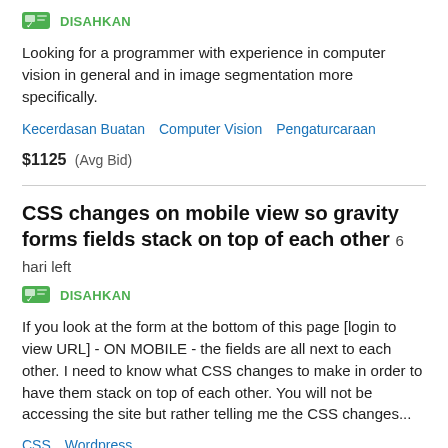[Figure (other): Green verified/disahkan badge icon with checkmark]
Looking for a programmer with experience in computer vision in general and in image segmentation more specifically.
Kecerdasan Buatan   Computer Vision   Pengaturcaraan
$1125  (Avg Bid)
CSS changes on mobile view so gravity forms fields stack on top of each other  6 hari left
[Figure (other): Green verified/disahkan badge icon with checkmark]
If you look at the form at the bottom of this page [login to view URL] - ON MOBILE - the fields are all next to each other. I need to know what CSS changes to make in order to have them stack on top of each other. You will not be accessing the site but rather telling me the CSS changes...
CSS   Wordpress